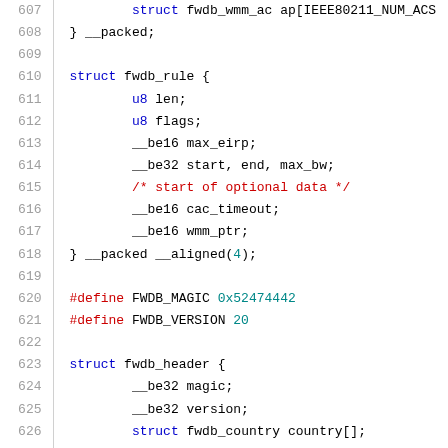Source code listing lines 607-628 showing C struct definitions and preprocessor macros for fwdb_rule and fwdb_header
[Figure (screenshot): Code listing with line numbers 607-628 showing C source code with syntax highlighting. Keywords in blue, comments in red, numeric/hex values in teal.]